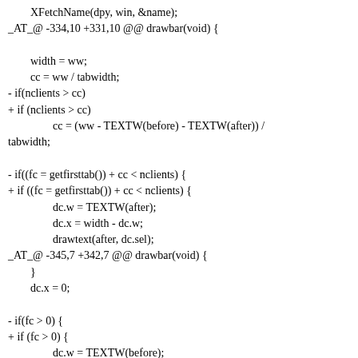XFetchName(dpy, win, &name);
_AT_@ -334,10 +331,10 @@ drawbar(void) {

        width = ww;
        cc = ww / tabwidth;
- if(nclients > cc)
+ if (nclients > cc)
                cc = (ww - TEXTW(before) - TEXTW(after)) / tabwidth;

- if((fc = getfirsttab()) + cc < nclients) {
+ if ((fc = getfirsttab()) + cc < nclients) {
                dc.w = TEXTW(after);
                dc.x = width - dc.w;
                drawtext(after, dc.sel);
_AT_@ -345,7 +342,7 @@ drawbar(void) {
        }
        dc.x = 0;

- if(fc > 0) {
+ if (fc > 0) {
                dc.w = TEXTW(before);
                drawtext(before, dc.sel);
                dc.x += dc.w;
 _AT_ @ -353,9 +350,9 @@ drawbar(void) {